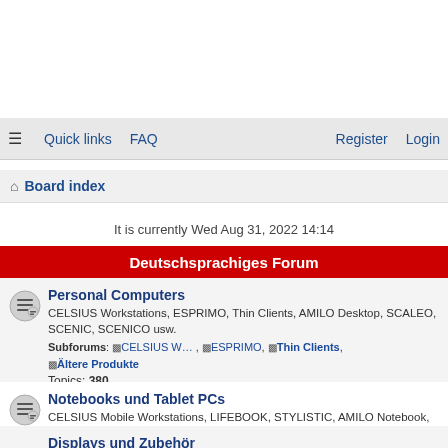☰ Quick links   FAQ   Register   Login
⌂ Board index
It is currently Wed Aug 31, 2022 14:14
Deutschsprachiges Forum
Personal Computers
CELSIUS Workstations, ESPRIMO, Thin Clients, AMILO Desktop, SCALEO, SCENIC, SCENICO usw.
Subforums: CELSIUS W… , ESPRIMO , Thin Clients , Ältere Produkte
Topics: 380
Notebooks und Tablet PCs
CELSIUS Mobile Workstations, LIFEBOOK, STYLISTIC, AMILO Notebook, ESPRIMO Mobile, Handhelds (PDA), usw.
Subforums: CELSIUS Mo… , LIFEBOOK , STYLISTIC T… , Ältere Produkte
Topics: 841
Displays und Zubehör